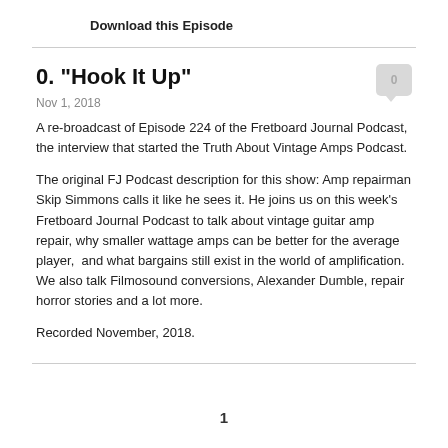Download this Episode
0. "Hook It Up"
Nov 1, 2018
A re-broadcast of Episode 224 of the Fretboard Journal Podcast, the interview that started the Truth About Vintage Amps Podcast.
The original FJ Podcast description for this show: Amp repairman Skip Simmons calls it like he sees it. He joins us on this week's Fretboard Journal Podcast to talk about vintage guitar amp repair, why smaller wattage amps can be better for the average player,  and what bargains still exist in the world of amplification. We also talk Filmosound conversions, Alexander Dumble, repair horror stories and a lot more.
Recorded November, 2018.
1